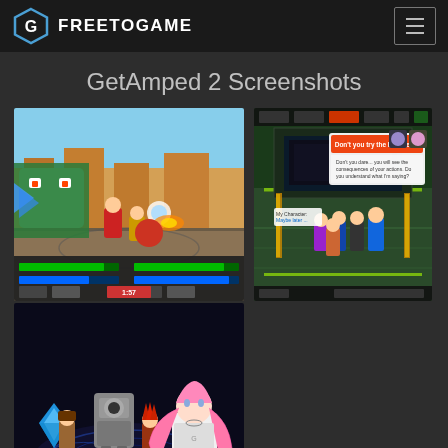FREETOGAME
GetAmped 2 Screenshots
[Figure (screenshot): GetAmped 2 gameplay screenshot showing anime-style characters fighting a large monster on a city map, with health bars at the bottom]
[Figure (screenshot): GetAmped 2 screenshot showing characters in a sci-fi lobby/hub area with a dialogue box open]
[Figure (screenshot): GetAmped 2 screenshot showing anime characters in a dark combat area, with a pink-haired girl in foreground and dialogue caption at bottom reading: 'Lately, the Val Shark Army have been causing more incidents it has ever before.']